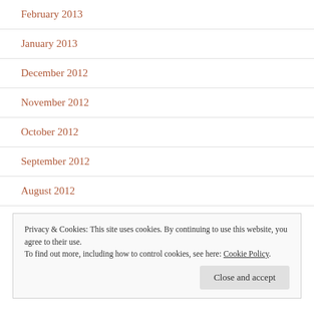February 2013
January 2013
December 2012
November 2012
October 2012
September 2012
August 2012
Privacy & Cookies: This site uses cookies. By continuing to use this website, you agree to their use.
To find out more, including how to control cookies, see here: Cookie Policy
Close and accept